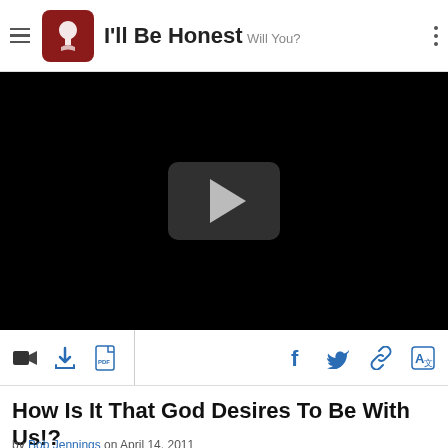I'll Be Honest — Will You?
[Figure (screenshot): Black video player area with a dark rounded-rectangle play button in the center containing a light gray play triangle]
[Figure (infographic): Toolbar with icons: video camera, download, PDF, Facebook, Twitter, link/share, translate]
How Is It That God Desires To Be With Us!?
by Bob Jennings on April 14, 2011